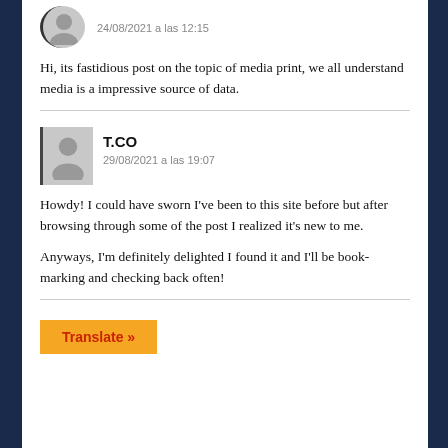24/08/2021 a las 12:15
Hi, its fastidious post on the topic of media print, we all understand media is a impressive source of data.
T.CO
29/08/2021 a las 19:07
Howdy! I could have sworn I’ve been to this site before but after browsing through some of the post I realized it’s new to me.
Anyways, I’m definitely delighted I found it and I’ll be book-marking and checking back often!
Translate »